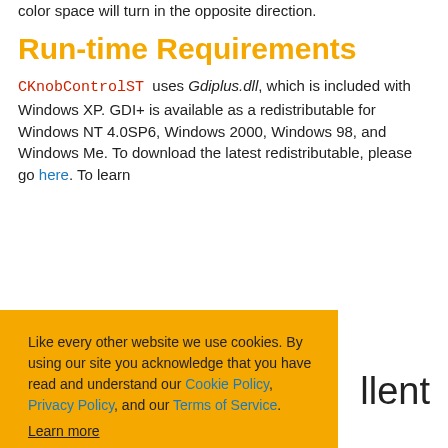color space will turn in the opposite direction.
Run-time Requirements
CKnobControlST uses Gdiplus.dll, which is included with Windows XP. GDI+ is available as a redistributable for Windows NT 4.0SP6, Windows 2000, Windows 98, and Windows Me. To download the latest redistributable, please go here. To learn
Like every other website we use cookies. By using our site you acknowledge that you have read and understand our Cookie Policy, Privacy Policy, and our Terms of Service. Learn more
Ask me later
Decline
Allow cookies
llent